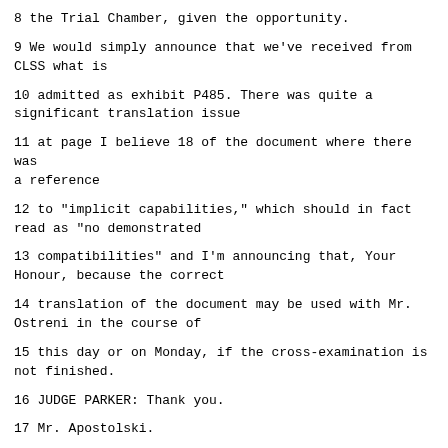8 the Trial Chamber, given the opportunity.
9 We would simply announce that we've received from CLSS what is
10 admitted as exhibit P485. There was quite a significant translation issue
11 at page I believe 18 of the document where there was a reference
12 to "implicit capabilities," which should in fact read as "no demonstrated
13 compatibilities" and I'm announcing that, Your Honour, because the correct
14 translation of the document may be used with Mr. Ostreni in the course of
15 this day or on Monday, if the cross-examination is not finished.
16 JUDGE PARKER: Thank you.
17 Mr. Apostolski.
18 MR. APOSTOLSKI: [Interpretation] Good afternoon, Your Honours.
19 I would like to briefly announce and inform the